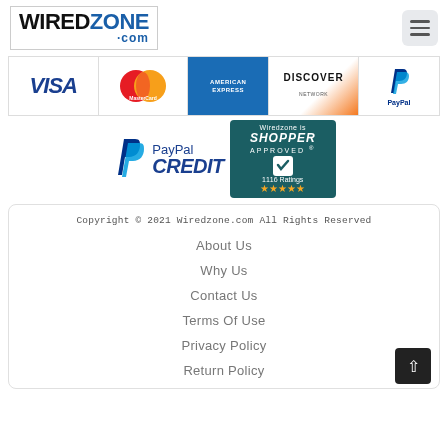[Figure (logo): Wiredzone.com logo with hamburger menu icon]
[Figure (infographic): Payment method logos: VISA, MasterCard, American Express, Discover Network, PayPal]
[Figure (infographic): PayPal Credit badge and Wiredzone is Shopper Approved badge with 1116 Ratings and 5 stars]
Copyright © 2021 Wiredzone.com All Rights Reserved
About Us
Why Us
Contact Us
Terms Of Use
Privacy Policy
Return Policy